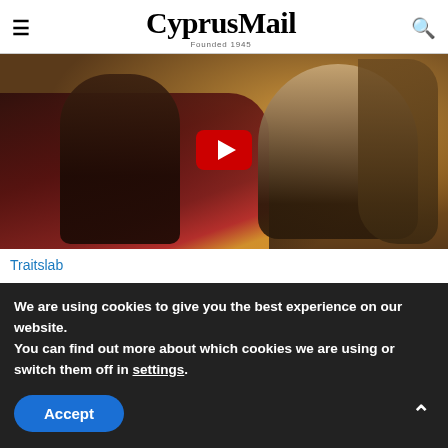CyprusMail Founded 1945
[Figure (photo): Video thumbnail showing two women in a convertible car, with a YouTube play button overlay. Outdoor scene with warm lighting.]
Traitslab
Alicia Silverstone Was Turning Heads Before 'Clueless' (Watch)
We are using cookies to give you the best experience on our website.
You can find out more about which cookies we are using or switch them off in settings.
Accept